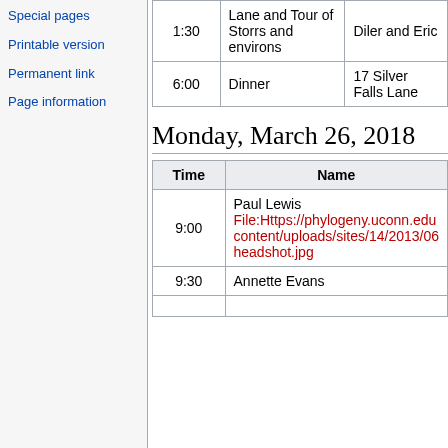Special pages
Printable version
Permanent link
Page information
| 1:30 | Lane and Tour of Storrs and environs | Diler and Eric |
| 6:00 | Dinner | 17 Silver Falls Lane |
Monday, March 26, 2018
| Time | Name |
| --- | --- |
| 9:00 | Paul Lewis
File:Https://phylogeny.uconn.edu/content/uploads/sites/14/2013/06/headshot.jpg |
| 9:30 | Annette Evans |
| 10:00 |  |